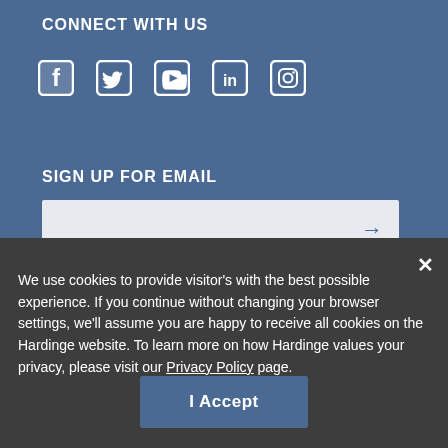CONNECT WITH US
[Figure (infographic): Row of social media icons: Facebook, Twitter, YouTube, LinkedIn, Instagram in white on blue background]
SIGN UP FOR EMAIL
[Figure (other): Email input field with right arrow button]
We use cookies to provide visitor's with the best possible experience. If you continue without changing your browser settings, we'll assume you are happy to receive all cookies on the Hardinge website. To learn more on how Hardinge values your privacy, please visit our Privacy Policy page.
I Accept